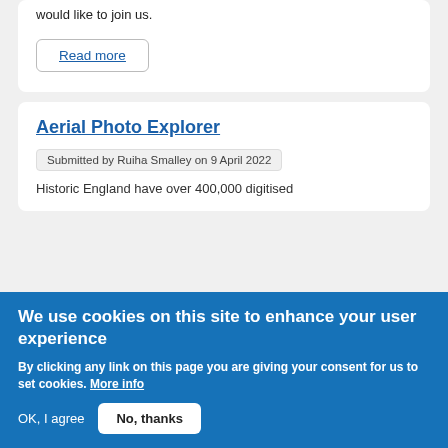would like to join us.
Read more
Aerial Photo Explorer
Submitted by Ruiha Smalley on 9 April 2022
Historic England have over 400,000 digitised
We use cookies on this site to enhance your user experience
By clicking any link on this page you are giving your consent for us to set cookies. More info
OK, I agree
No, thanks